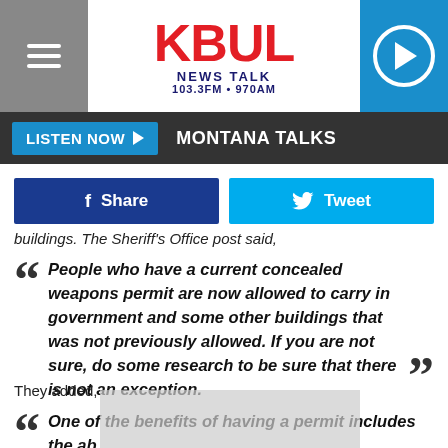[Figure (logo): KBUL News Talk 103.3FM 970AM logo with hamburger menu and play button]
LISTEN NOW ▶  MONTANA TALKS
[Figure (infographic): Facebook Share and Twitter Tweet social sharing buttons]
buildings. The Sheriff's Office post said,
People who have a current concealed weapons permit are now allowed to carry in government and some other buildings that was not previously allowed. If you are not sure, do some research to be sure that there is not an exception.
They added,
One of the benefits of having a permit includes the ab